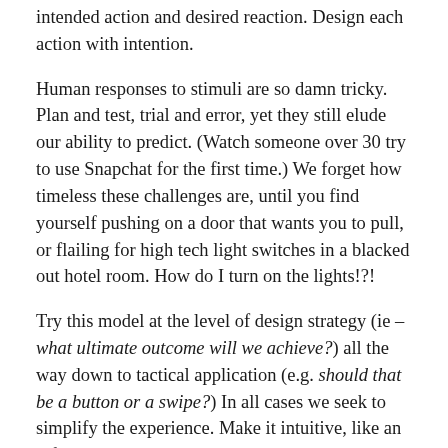intended action and desired reaction. Design each action with intention.
Human responses to stimuli are so damn tricky. Plan and test, trial and error, yet they still elude our ability to predict. (Watch someone over 30 try to use Snapchat for the first time.) We forget how timeless these challenges are, until you find yourself pushing on a door that wants you to pull, or flailing for high tech light switches in a blacked out hotel room. How do I turn on the lights!?!
Try this model at the level of design strategy (ie – what ultimate outcome will we achieve?) all the way down to tactical application (e.g. should that be a button or a swipe?) In all cases we seek to simplify the experience. Make it intuitive, like an infant with a rattle, or an iPad. Simple, easy, engaging.